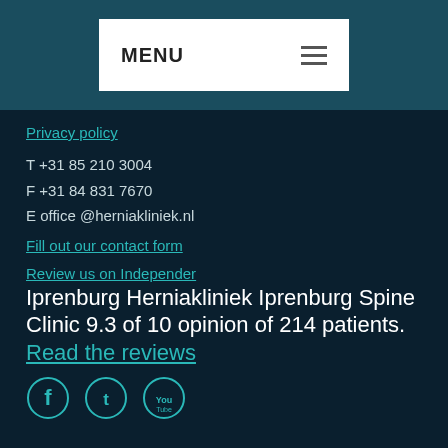MENU
Privacy policy
T +31 85 210 3004
F +31 84 831 7670
E office @herniakliniek.nl
Fill out our contact form
Review us on Independer
Iprenburg Herniakliniek Iprenburg Spine Clinic 9.3 of 10 opinion of 214 patients. Read the reviews
[Figure (other): Social media icons: Facebook, Twitter, YouTube]